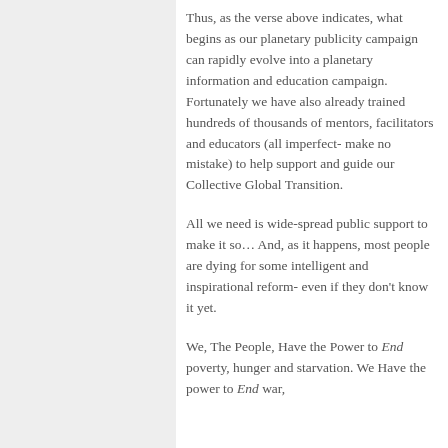Thus, as the verse above indicates, what begins as our planetary publicity campaign can rapidly evolve into a planetary information and education campaign. Fortunately we have also already trained hundreds of thousands of mentors, facilitators and educators (all imperfect- make no mistake) to help support and guide our Collective Global Transition.
All we need is wide-spread public support to make it so… And, as it happens, most people are dying for some intelligent and inspirational reform- even if they don't know it yet.
We, The People, Have the Power to End poverty, hunger and starvation. We Have the power to End war,